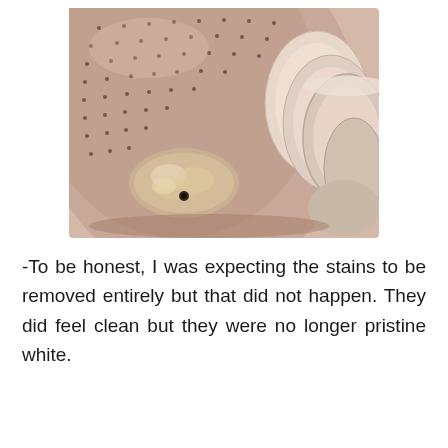[Figure (photo): Close-up photo of dishes and a sponge inside a sink or dishwasher drum. The interior is beige/cream colored with dotted perforations visible, white plates and bowls are stacked on the right side, and a soapy/foamy sponge sits at the bottom center.]
-To be honest, I was expecting the stains to be removed entirely but that did not happen. They did feel clean but they were no longer pristine white.